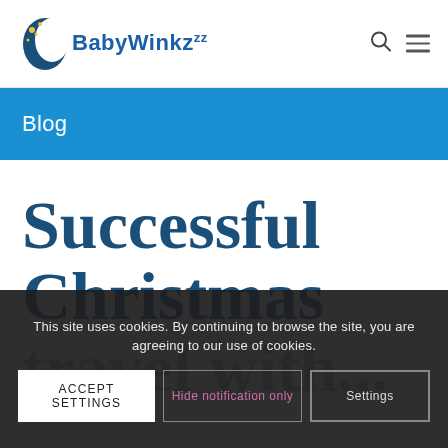BabyWinkzzz
Blog
Successful Christmas travel with...
This site uses cookies. By continuing to browse the site, you are agreeing to our use of cookies.